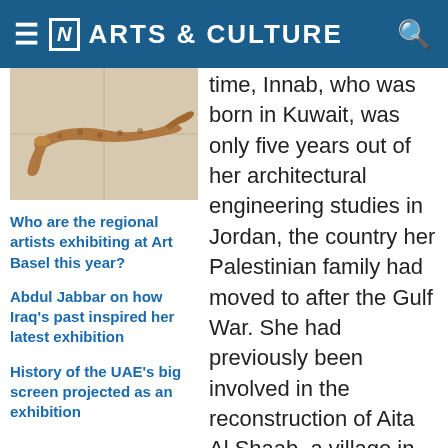[N] ARTS & CULTURE
[Figure (photo): Photo of a lizard or small reptile lying on a tiled/stone floor, brownish-orange in color]
Who are the regional artists exhibiting at Art Basel this year?
Abdul Jabbar on how Iraq's past inspired her latest exhibition
History of the UAE's big screen projected as an exhibition
time, Innab, who was born in Kuwait, was only five years out of her architectural engineering studies in Jordan, the country her Palestinian family had moved to after the Gulf War. She had previously been involved in the reconstruction of Aita Al Shaab, a village in south Lebanon that had been destroyed in Lebanon's war with Israel in 2006, but the